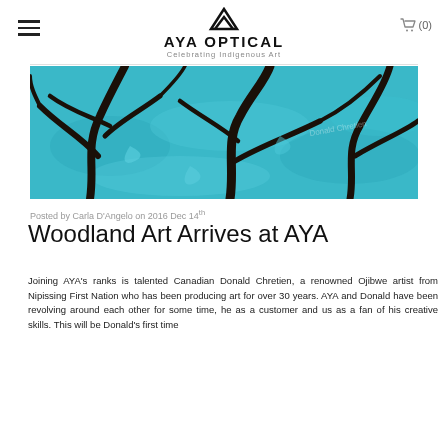AYA OPTICAL — Celebrating Indigenous Art
[Figure (photo): Close-up painting of woodland art showing blue background with dark black tree branches in an Indigenous style by Donald Chretien]
Posted by Carla D'Angelo on 2016 Dec 14th
Woodland Art Arrives at AYA
Joining AYA's ranks is talented Canadian Donald Chretien, a renowned Ojibwe artist from Nipissing First Nation who has been producing art for over 30 years. AYA and Donald have been revolving around each other for some time, he as a customer and us as a fan of his creative skills. This will be Donald's first time